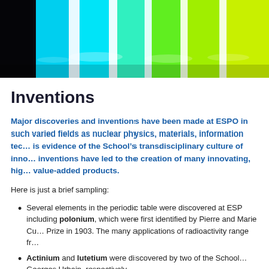[Figure (photo): Colorful laboratory test tubes or containers with vivid blue, cyan, green and yellow-green colors arranged in a row, photographed close-up.]
Inventions
Major discoveries and inventions have been made at ESPC in such varied fields as nuclear physics, materials, information technology. This is evidence of the School's transdisciplinary culture of innovation. These inventions have led to the creation of many innovating, high value-added products.
Here is just a brief sampling:
Several elements in the periodic table were discovered at ESP including polonium, which were first identified by Pierre and Marie Cu Prize in 1903. The many applications of radioactivity range fr
Actinium and lutetium were discovered by two of the School Georges Urbain, respectively.